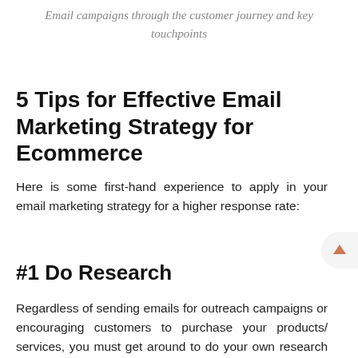Email campaigns through the customer journey and key touchpoints
5 Tips for Effective Email Marketing Strategy for Ecommerce
Here is some first-hand experience to apply in your email marketing strategy for a higher response rate:
#1 Do Research
Regardless of sending emails for outreach campaigns or encouraging customers to purchase your products/ services, you must get around to do your own research based on all their information, data collected from any tools, media channels, in order to truly understand and